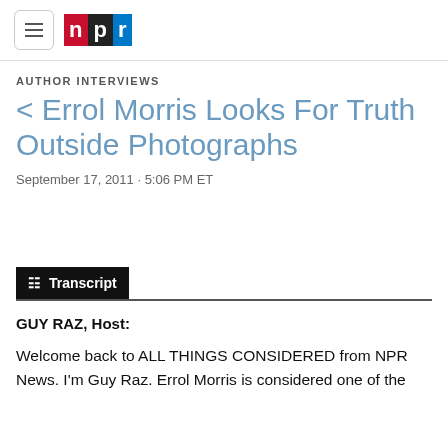NPR
AUTHOR INTERVIEWS
< Errol Morris Looks For Truth Outside Photographs
September 17, 2011 · 5:06 PM ET
Transcript
GUY RAZ, Host:
Welcome back to ALL THINGS CONSIDERED from NPR News. I'm Guy Raz. Errol Morris is considered one of the